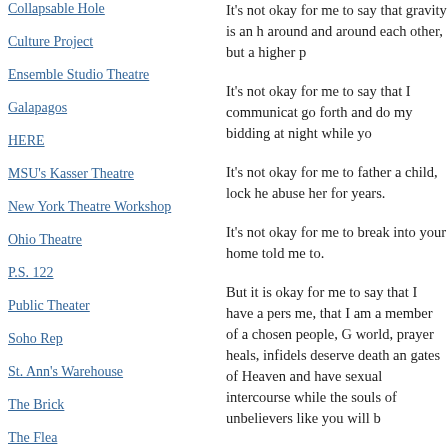Collapsable Hole
Culture Project
Ensemble Studio Theatre
Galapagos
HERE
MSU's Kasser Theatre
New York Theatre Workshop
Ohio Theatre
P.S. 122
Public Theater
Soho Rep
St. Ann's Warehouse
The Brick
The Flea
The Zipper Theater
T H E A T E R   N E W S
American Theater Web
It’s not okay for me to say that gravity is an h around and around each other, but a higher p
It’s not okay for me to say that I communicat go forth and do my bidding at night while yo
It’s not okay for me to father a child, lock he abuse her for years.
It’s not okay for me to break into your home told me to.
But it is okay for me to say that I have a pers me, that I am a member of a chosen people, G world, prayer heals, infidels deserve death an gates of Heaven and have sexual intercourse while the souls of unbelievers like you will b
Or, on a softer note, it’s okay for me to say I say…and if you don’t believe that’s okay, I g